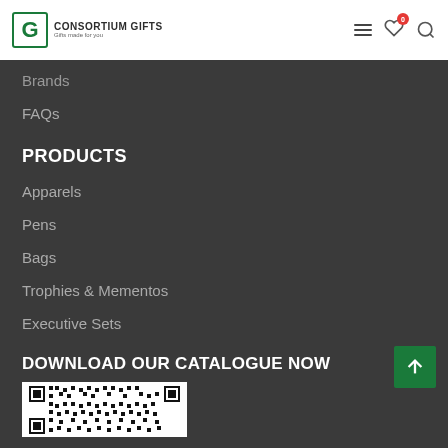Consortium Gifts
Brands
FAQs
PRODUCTS
Apparels
Pens
Bags
Trophies & Mementos
Executive Sets
DOWNLOAD OUR CATALOGUE NOW
[Figure (other): QR code for downloading catalogue]